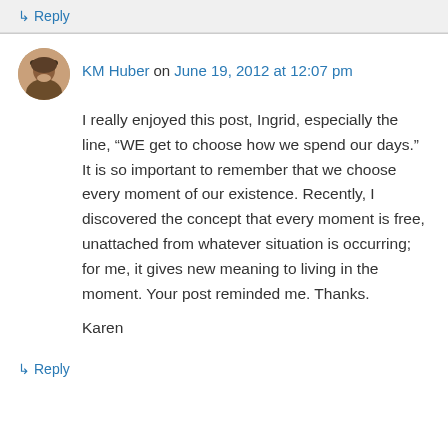↳ Reply
KM Huber on June 19, 2012 at 12:07 pm
I really enjoyed this post, Ingrid, especially the line, “WE get to choose how we spend our days.” It is so important to remember that we choose every moment of our existence. Recently, I discovered the concept that every moment is free, unattached from whatever situation is occurring; for me, it gives new meaning to living in the moment. Your post reminded me. Thanks.

Karen
↳ Reply